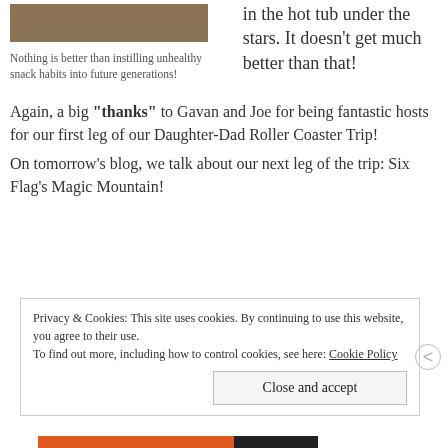[Figure (photo): Partial photo visible at top left, brown/tan color, appears to be a person or food item]
Nothing is better than instilling unhealthy snack habits into future generations!
in the hot tub under the stars. It doesn't get much better than that!
Again, a big "thanks" to Gavan and Joe for being fantastic hosts for our first leg of our Daughter-Dad Roller Coaster Trip!
On tomorrow's blog, we talk about our next leg of the trip: Six Flag's Magic Mountain!
Privacy & Cookies: This site uses cookies. By continuing to use this website, you agree to their use.
To find out more, including how to control cookies, see here: Cookie Policy
Close and accept